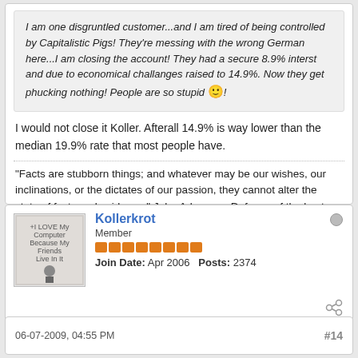I am one disgruntled customer...and I am tired of being controlled by Capitalistic Pigs! They're messing with the wrong German here...I am closing the account! They had a secure 8.9% interst and due to economical challanges raised to 14.9%. Now they get phucking nothing! People are so stupid 😊!
I would not close it Koller. Afterall 14.9% is way lower than the median 19.9% rate that most people have.
"Facts are stubborn things; and whatever may be our wishes, our inclinations, or the dictates of our passion, they cannot alter the state of facts and evidence." John Adams on Defense of the boston Massacre
Kollerkrot
Member
Join Date: Apr 2006   Posts: 2374
06-07-2009, 04:55 PM
#14